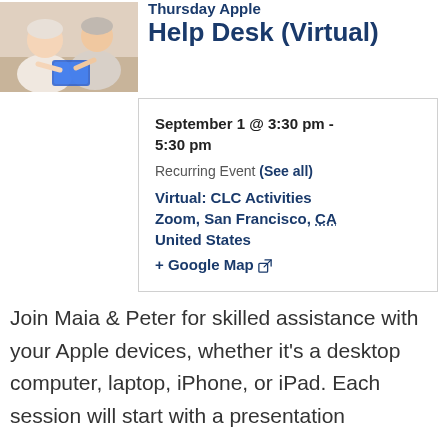[Figure (photo): Two people (elderly women) looking at an Apple device together at a table]
Thursday Apple Help Desk (Virtual)
September 1 @ 3:30 pm - 5:30 pm
Recurring Event (See all)
Virtual: CLC Activities Zoom, San Francisco, CA United States
+ Google Map
Join Maia & Peter for skilled assistance with your Apple devices, whether it's a desktop computer, laptop, iPhone, or iPad. Each session will start with a presentation